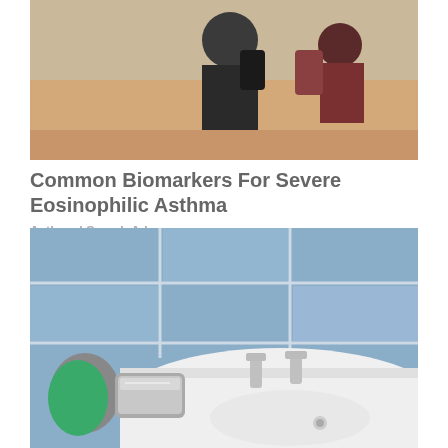[Figure (photo): Photo of a person at a beach or sandy environment, wearing a dark vest or backpack, with another person in a red/maroon outfit visible in the background]
Common Biomarkers For Severe Eosinophilic Asthma
Asthma | Search Ads
[Figure (photo): Photo of a person wearing green rubber gloves cleaning a white bathroom sink with a chrome faucet, blue tiles visible in the background]